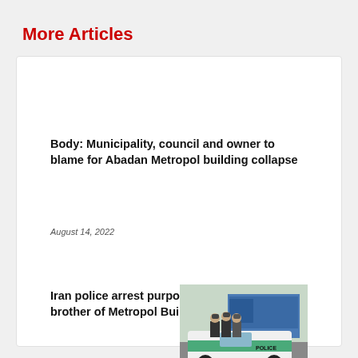More Articles
Body: Municipality, council and owner to blame for Abadan Metropol building collapse
August 14, 2022
Iran police arrest purported killers of brother of Metropol Building's owner
[Figure (photo): Iranian police officers standing next to a white and green police car on a street, with a blue truck visible in the background.]
July 24, 2022